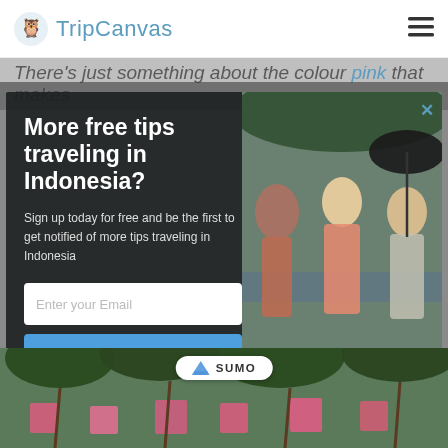TripCanvas
There's just something about the colour pink that makes
[Figure (screenshot): Modal popup overlay on TripCanvas travel website. Left side shows bold white text 'More free tips traveling in Indonesia?' with subtext 'Sign up today for free and be the first to get notified of more tips traveling in Indonesia', an email input field, a blue 'Free Subscribe' button, and a 'no, thanks' link. Right side shows a photo of three women (one with umbrella) at an Indonesian beach. Blue X close button top right.]
[Figure (photo): Aerial/ground view of tropical beach resort with pink umbrellas/huts and palm trees in Indonesia.]
SUMO